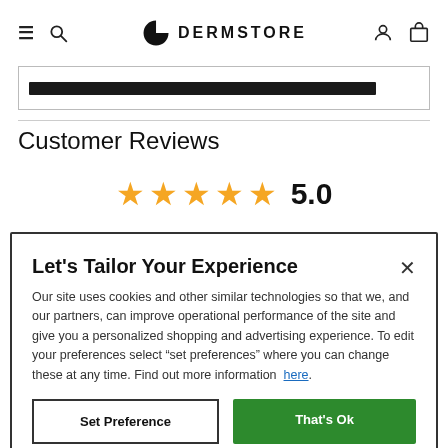DERMSTORE
[Figure (screenshot): Progress bar partially filled in black inside a bordered rectangle]
Customer Reviews
[Figure (other): Five orange stars rating with numeric score 5.0]
Let's Tailor Your Experience
Our site uses cookies and other similar technologies so that we, and our partners, can improve operational performance of the site and give you a personalized shopping and advertising experience. To edit your preferences select "set preferences" where you can change these at any time. Find out more information here.
Set Preference   That's Ok